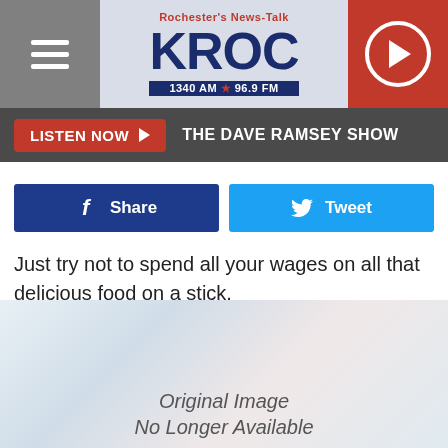Rochester's News-Talk KROC 1340 AM 96.9 FM
LISTEN NOW ▶ THE DAVE RAMSEY SHOW
Share   Tweet
Just try not to spend all your wages on all that delicious food on a stick.
Get more info by checking out The Minnesota State Fair Job Fair.
[Figure (photo): Original Image No Longer Available placeholder image]